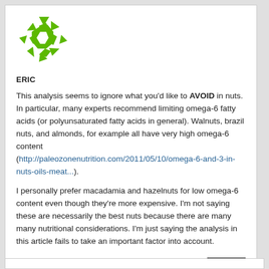[Figure (logo): Green star/snowflake shaped logo made of arrow-like triangular pieces]
ERIC
This analysis seems to ignore what you'd like to AVOID in nuts. In particular, many experts recommend limiting omega-6 fatty acids (or polyunsaturated fatty acids in general). Walnuts, brazil nuts, and almonds, for example all have very high omega-6 content (http://paleozonenutrition.com/2011/05/10/omega-6-and-3-in-nuts-oils-meat...).
I personally prefer macadamia and hazelnuts for low omega-6 content even though they're more expensive. I'm not saying these are necessarily the best nuts because there are many many nutritional considerations. I'm just saying the analysis in this article fails to take an important factor into account.